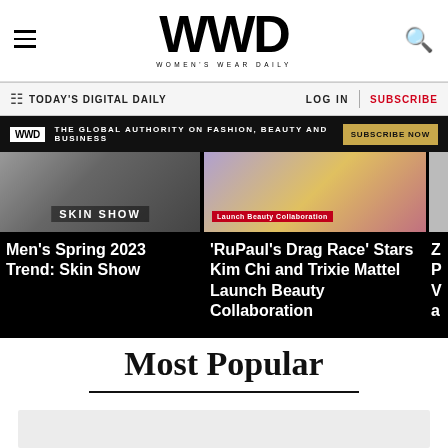WWD WOMEN'S WEAR DAILY
TODAY'S DIGITAL DAILY
LOG IN | SUBSCRIBE
WWD THE GLOBAL AUTHORITY ON FASHION, BEAUTY AND BUSINESS SUBSCRIBE NOW
[Figure (screenshot): Carousel of article thumbnails: Men's Spring 2023 Trend: Skin Show; 'RuPaul's Drag Race' Stars Kim Chi and Trixie Mattel Launch Beauty Collaboration; partial third article]
Men's Spring 2023 Trend: Skin Show
'RuPaul's Drag Race' Stars Kim Chi and Trixie Mattel Launch Beauty Collaboration
Most Popular